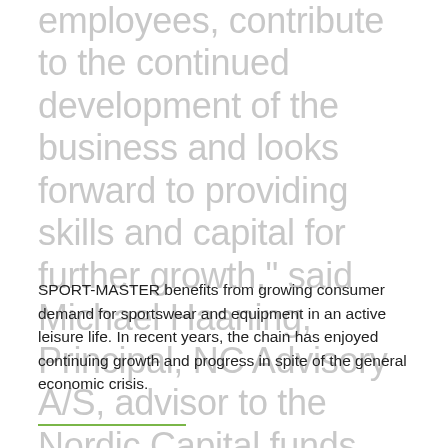employees, contribute to the continued development of the business and looks forward to providing skills and capital for further growth," said Michael Haaning, Principal, NC Advisory A/S, advisor to the Nordic Capital funds.
SPORT-MASTER benefits from growing consumer demand for sportswear and equipment in an active leisure life. In recent years, the chain has enjoyed continuing growth and progress in spite of the general economic crisis.